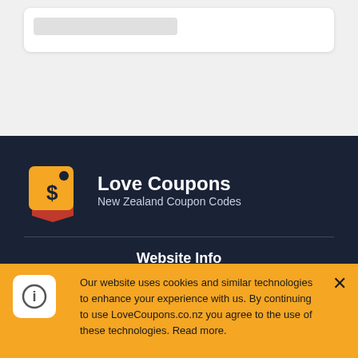[Figure (screenshot): Top light gray section with a white card placeholder containing a gray bar]
[Figure (logo): Love Coupons logo: orange and red price tag icon with dollar sign]
Love Coupons
New Zealand Coupon Codes
Website Info
About Us
All Brands
All Categories
Our website uses cookies and similar technologies to enhance your experience with us. By continuing to use LoveCoupons.co.nz you agree to the use of these technologies. Read more.